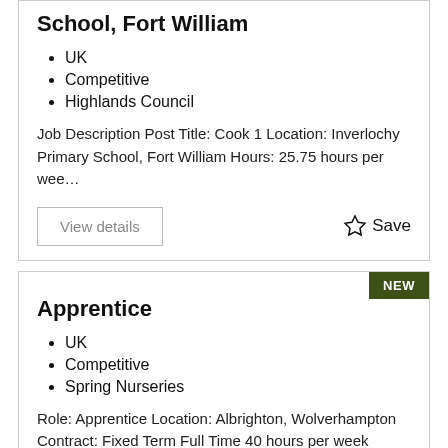School, Fort William
UK
Competitive
Highlands Council
Job Description Post Title: Cook 1 Location: Inverlochy Primary School, Fort William Hours: 25.75 hours per wee…
View details
Save
Apprentice
UK
Competitive
Spring Nurseries
Role: Apprentice Location: Albrighton, Wolverhampton Contract: Fixed Term Full Time 40 hours per week Salary:…